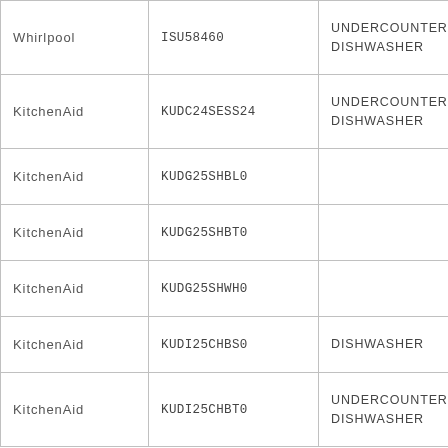| Whirlpool | ISU58460 | UNDERCOUNTER DISHWASHER |
| KitchenAid | KUDC24SESS24 | UNDERCOUNTER DISHWASHER |
| KitchenAid | KUDG25SHBL0 |  |
| KitchenAid | KUDG25SHBT0 |  |
| KitchenAid | KUDG25SHWH0 |  |
| KitchenAid | KUDI25CHBS0 | DISHWASHER |
| KitchenAid | KUDI25CHBT0 | UNDERCOUNTER DISHWASHER |